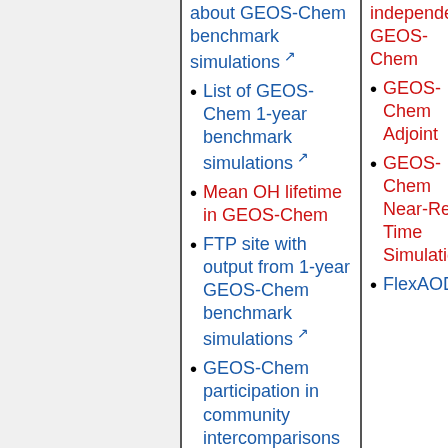about GEOS-Chem benchmark simulations [external link]
List of GEOS-Chem 1-year benchmark simulations [external link]
Mean OH lifetime in GEOS-Chem
FTP site with output from 1-year GEOS-Chem benchmark simulations [external link]
GEOS-Chem participation in community intercomparisons
independent GEOS-Chem
GEOS-Chem Adjoint
GEOS-Chem Near-Real-Time Simulations
FlexAOD